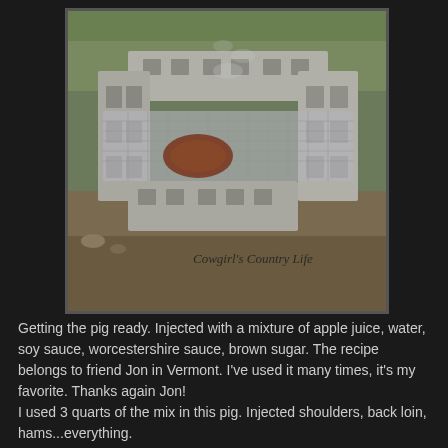[Figure (photo): A DIY cinder block grill/smoker made outdoors from concrete blocks arranged in a U-shape with metal grating on top. Meat is visible cooking on the grill. Text watermark reads 'Cowgirl's Country Life'.]
Getting the pig ready. Injected with a mixture of apple juice, water, soy sauce, worcestershire sauce, brown sugar. The recipe belongs to friend Jon in Vermont. I've used it many times, it's my favorite. Thanks again Jon!
I used 3 quarts of the mix in this pig. Injected shoulders, back loin, hams...everything.